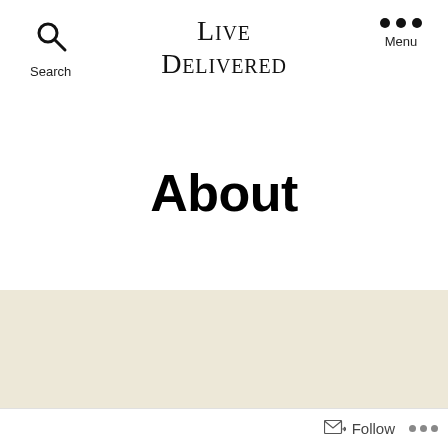Live Delivered
Search
Menu
About
[Figure (screenshot): Beige background content area with a dark image/video bar at the bottom edge]
Follow